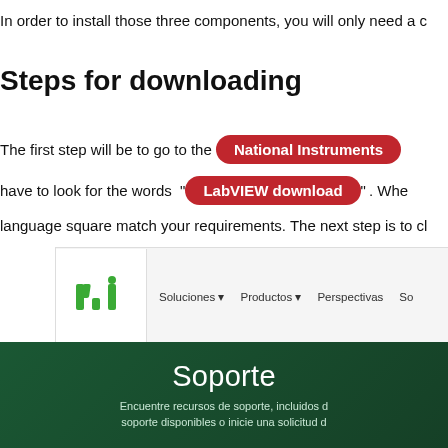In order to install those three components, you will only need a c
Steps for downloading
The first step will be to go to the National Instruments have to look for the words "LabVIEW download". Whe language square match your requirements. The next step is to ch
[Figure (screenshot): Screenshot of the National Instruments website showing the NI logo, navigation links (Soluciones, Productos, Perspectivas, So...) and a dark green hero banner with 'Soporte' heading and subtitle 'Encuentre recursos de soporte, incluidos d... soporte disponibles o inicie una solicitud d...']